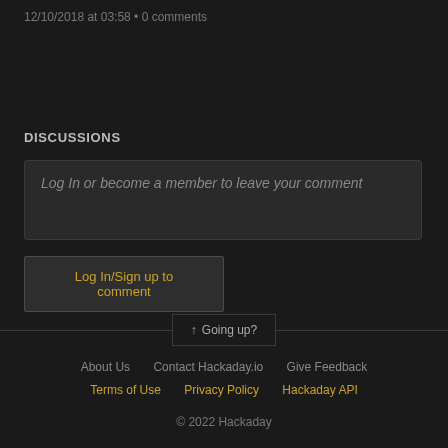12/10/2018 at 03:58 • 0 comments
DISCUSSIONS
Log In or become a member to leave your comment
Log In/Sign up to comment
↑ Going up?
About Us   Contact Hackaday.io   Give Feedback   Terms of Use   Privacy Policy   Hackaday API
© 2022 Hackaday